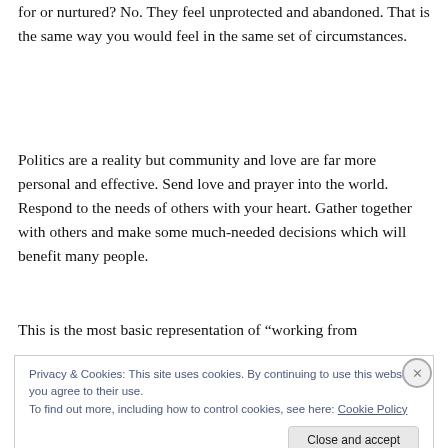How does that occur? Does your loved one feel cared for or nurtured? No. They feel unprotected and abandoned. That is the same way you would feel in the same set of circumstances.
Politics are a reality but community and love are far more personal and effective. Send love and prayer into the world. Respond to the needs of others with your heart. Gather together with others and make some much-needed decisions which will benefit many people.
This is the most basic representation of “working from
Privacy & Cookies: This site uses cookies. By continuing to use this website, you agree to their use.
To find out more, including how to control cookies, see here: Cookie Policy